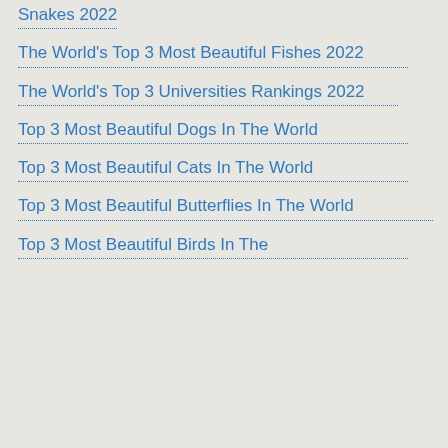Snakes 2022
The World's Top 3 Most Beautiful Fishes 2022
The World's Top 3 Universities Rankings 2022
Top 3 Most Beautiful Dogs In The World
Top 3 Most Beautiful Cats In The World
Top 3 Most Beautiful Butterflies In The World
Top 3 Most Beautiful Birds In The